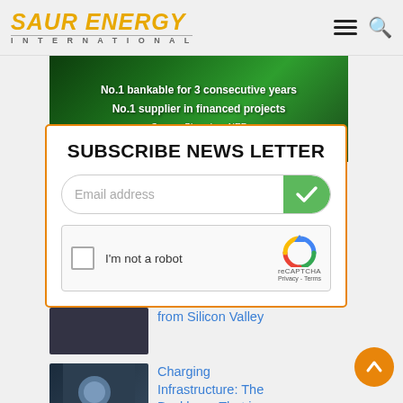SAUR ENERGY INTERNATIONAL
[Figure (photo): Green foliage background with white text: No.1 bankable for 3 consecutive years / No.1 supplier in financed projects / Source: BloombergNEF]
SUBSCRIBE NEWS LETTER
Email address
I'm not a robot
reCAPTCHA Privacy - Terms
from Silicon Valley
Charging Infrastructure: The Backbone That is Driving a T...
Explained: Bifacial